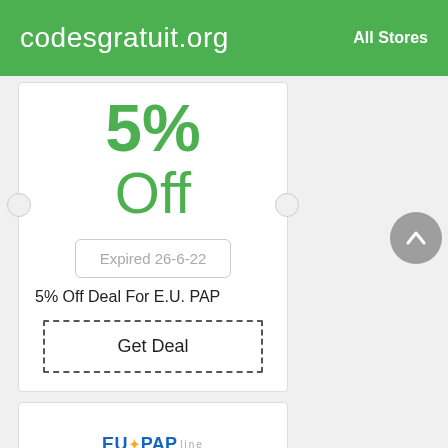codesgratuit.org   All Stores
5%
Off
Expired 26-6-22
5% Off Deal For E.U. PAP
Get Deal
[Figure (logo): EUPAP logo at the bottom of the page]